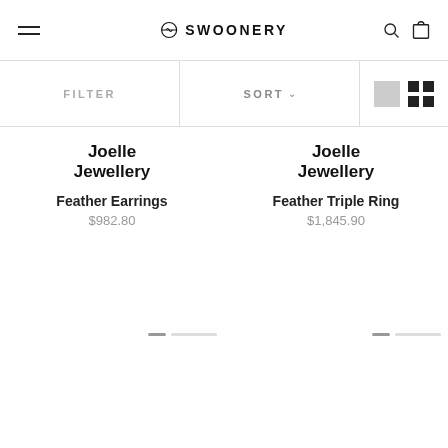SWOONERY
FILTER
SORT
Joelle Jewellery
Feather Earrings
$982.80
Joelle Jewellery
Feather Triple Ring
$1,845.90